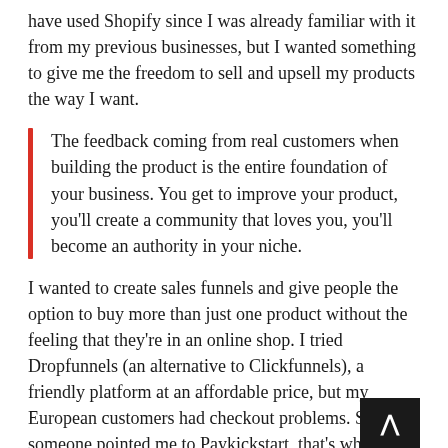have used Shopify since I was already familiar with it from my previous businesses, but I wanted something to give me the freedom to sell and upsell my products the way I want.
The feedback coming from real customers when building the product is the entire foundation of your business. You get to improve your product, you'll create a community that loves you, you'll become an authority in your niche.
I wanted to create sales funnels and give people the option to buy more than just one product without the feeling that they're in an online shop. I tried Dropfunnels (an alternative to Clickfunnels), a friendly platform at an affordable price, but my European customers had checkout problems. So, someone pointed me to Paykickstart, that's when the magic began. Using sales funnels, I can now up-sell or down-sell extra products that I trust.